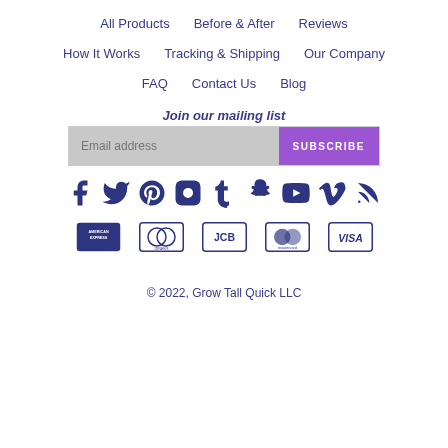All Products
Before & After
Reviews
How It Works
Tracking & Shipping
Our Company
FAQ
Contact Us
Blog
Join our mailing list
[Figure (other): Email address input field with Subscribe button]
[Figure (other): Social media icons: Facebook, Twitter, Pinterest, Instagram, Tumblr, Snapchat, YouTube, Vimeo, RSS]
[Figure (other): Payment method icons: American Express, Diners Club, JCB, MasterCard, Visa]
© 2022, Grow Tall Quick LLC